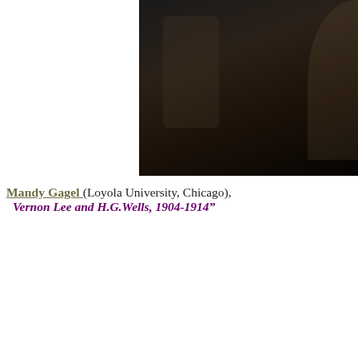[Figure (photo): Dark photograph, partially visible, showing a dimly lit room with indistinct figures or objects]
Mandy Gagel (Loyola University, Chicago), Vernon Lee and H.G.Wells, 1904-1914"
[Figure (screenshot): Video player showing error message: 'The media could not be loaded, either because the server or format is not supported.' with dark background]